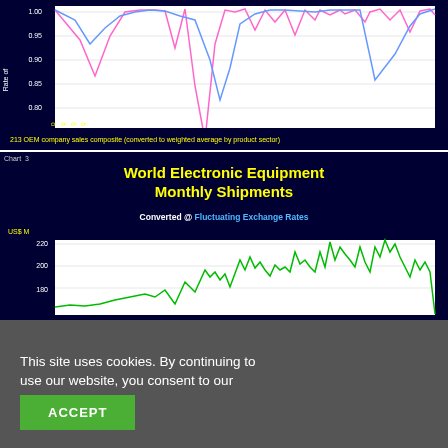[Figure (line-chart): Line chart on dark navy background showing rate of change over 2001-2019 with pink and blue lines, y-axis from 0.80 to 1.00]
213 OEM company sales composite (converted to weighted average by product sector)
[Figure (line-chart): Line chart on dark navy background showing monthly shipments in US$ M with green line, partial view. Y-axis shows 180, 200, 220.]
This site uses cookies. By continuing to use our website, you consent to our Cookies Policy